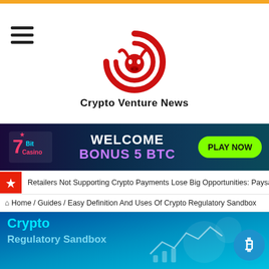[Figure (logo): Crypto Venture News logo - red circular C shape with bull head icon in center]
Crypto Venture News
[Figure (infographic): 7Bit Casino advertisement banner: WELCOME BONUS 5 BTC with PLAY NOW button]
Retailers Not Supporting Crypto Payments Lose Big Opportunities: Paysafe R
Home / Guides / Easy Definition And Uses Of Crypto Regulatory Sandbox
[Figure (illustration): Crypto Regulatory Sandbox hero banner with blue gradient background and crypto/finance icons]